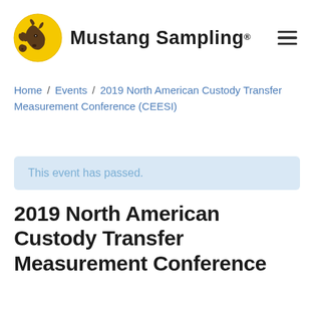Mustang Sampling
Home / Events / 2019 North American Custody Transfer Measurement Conference (CEESI)
This event has passed.
2019 North American Custody Transfer Measurement Conference